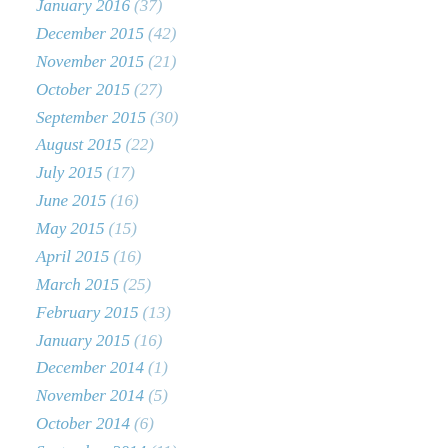January 2016 (37)
December 2015 (42)
November 2015 (21)
October 2015 (27)
September 2015 (30)
August 2015 (22)
July 2015 (17)
June 2015 (16)
May 2015 (15)
April 2015 (16)
March 2015 (25)
February 2015 (13)
January 2015 (16)
December 2014 (1)
November 2014 (5)
October 2014 (6)
September 2014 (11)
August 2014 (8)
July 2014 (20)
June 2014 (34)